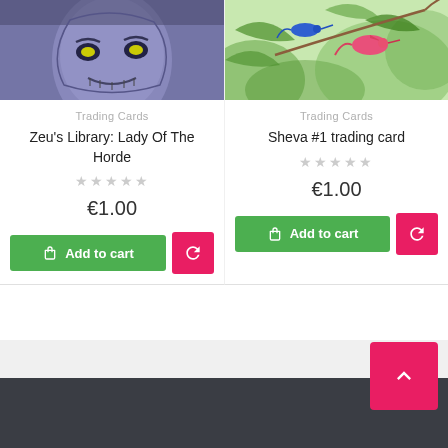[Figure (illustration): Top portion of a dark fantasy comic book card showing a menacing zombie/undead figure with glowing yellow eyes, purple/blue tones]
[Figure (illustration): Top portion of a nature scene with tropical birds (one pink/red) and foliage on a light green background]
Trading Cards
Trading Cards
Zeu's Library: Lady Of The Horde
Sheva #1 trading card
★★★★★ (empty stars)
★★★★★ (empty stars)
€1.00
€1.00
Add to cart
Add to cart